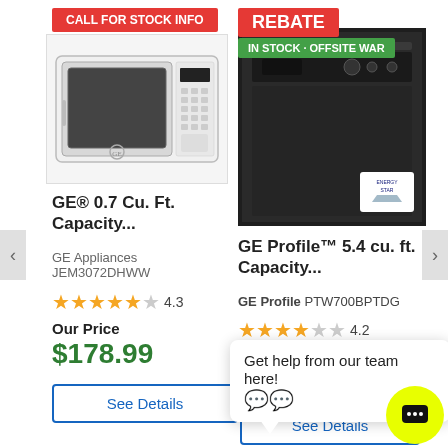[Figure (screenshot): Product listing page showing two GE appliances side by side with navigation arrows, badges, product images, ratings, prices, and a chat popup.]
CALL FOR STOCK INFO
[Figure (photo): GE white countertop microwave oven]
GE® 0.7 Cu. Ft. Capacity...
GE Appliances JEM3072DHWW
4.3
Our Price
$178.99
See Details
REBATE
IN STOCK · OFFSITE WAR
[Figure (photo): GE Profile dark/black top-load washing machine]
GE Profile™ 5.4 cu. ft. Capacity...
GE Profile PTW700BPTDG
4.2
Get help from our team here!
See Details